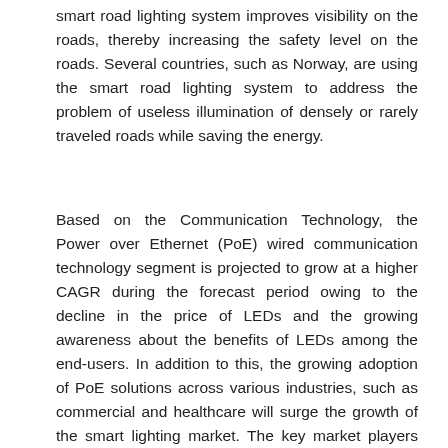smart road lighting system improves visibility on the roads, thereby increasing the safety level on the roads. Several countries, such as Norway, are using the smart road lighting system to address the problem of useless illumination of densely or rarely traveled roads while saving the energy.
Based on the Communication Technology, the Power over Ethernet (PoE) wired communication technology segment is projected to grow at a higher CAGR during the forecast period owing to the decline in the price of LEDs and the growing awareness about the benefits of LEDs among the end-users. In addition to this, the growing adoption of PoE solutions across various industries, such as commercial and healthcare will surge the growth of the smart lighting market. The key market players are focusing on developing more efficient